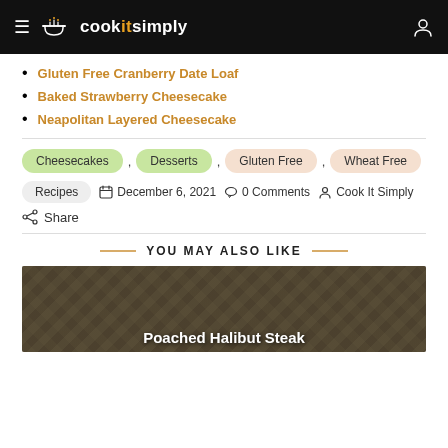cookitsimply
Gluten Free Cranberry Date Loaf
Baked Strawberry Cheesecake
Neapolitan Layered Cheesecake
Cheesecakes , Desserts , Gluten Free , Wheat Free
Recipes  December 6, 2021  0 Comments  Cook It Simply  Share
YOU MAY ALSO LIKE
[Figure (photo): Dark plaid/tartan pattern background image with text overlay reading 'Poached Halibut Steak']
Poached Halibut Steak